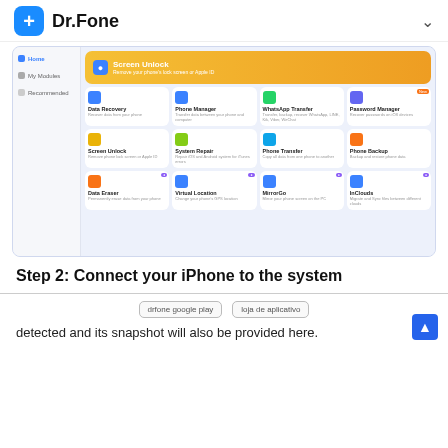Dr.Fone
[Figure (screenshot): Dr.Fone software interface showing a dashboard with modules including Data Recovery, Phone Manager, WhatsApp Transfer, Password Manager, Screen Unlock, System Repair, Phone Transfer, Phone Backup, Data Eraser, Virtual Location, MirrorGo, InClowds, and a Screen Unlock banner at the top. Left sidebar shows Home, My Modules, and Recommended navigation items.]
Step 2: Connect your iPhone to the system
drfone google play   loja de aplicativo
detected and its snapshot will also be provided here.